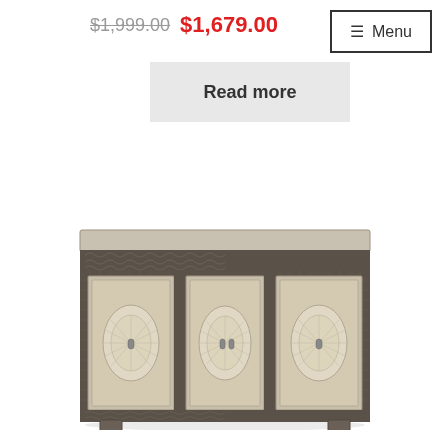$1,999.00  $1,679.00
≡ Menu
Read more
[Figure (photo): A decorative three-door sideboard/buffet cabinet with ornate carved wooden panels featuring oval medallion designs on each door, dark metal-look embossed trim along the frame and border, and light whitewashed wood panels. The cabinet has short legs and a flat top.]